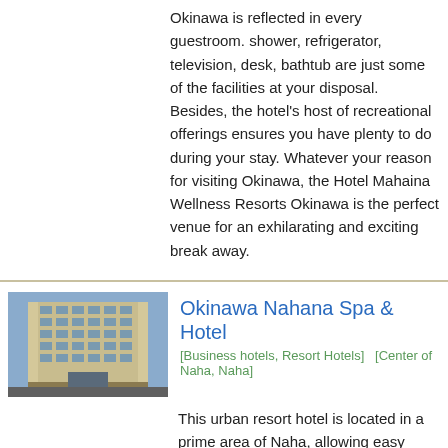Okinawa is reflected in every guestroom. shower, refrigerator, television, desk, bathtub are just some of the facilities at your disposal. Besides, the hotel's host of recreational offerings ensures you have plenty to do during your stay. Whatever your reason for visiting Okinawa, the Hotel Mahaina Wellness Resorts Okinawa is the perfect venue for an exhilarating and exciting break away.
Okinawa Nahana Spa & Hotel
[Business hotels, Resort Hotels]   [Center of Naha, Naha]
[Figure (photo): Photo of Okinawa Nahana Spa & Hotel building exterior, showing a tall modern hotel structure]
This urban resort hotel is located in a prime area of Naha, allowing easy access to many popular tourist and entertainment destinations. It's merely ten minutes from the Naha Airport, making it a great convenience for both business and leisure travelers. Local attractions not to be missed includes Shikina-en (World Heritage Site), DFS Galleria Okinawa, Naha-shi Kosetsu Ichiba (Naha public market), Okinawa Churaumi Aquarium and Nami-no-ue Beach. The property boasts spacious